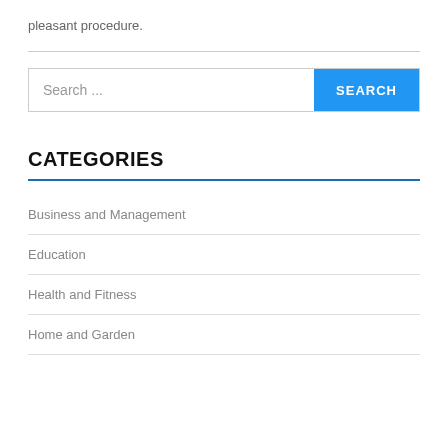pleasant procedure.
[Figure (other): Search bar with text input and blue SEARCH button]
CATEGORIES
Business and Management
Education
Health and Fitness
Home and Garden